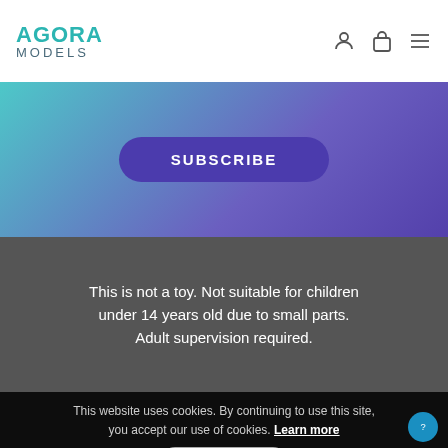AGORA MODELS
[Figure (screenshot): Subscribe button on gradient teal-to-purple banner background]
This is not a toy. Not suitable for children under 14 years old due to small parts. Adult supervision required.
This website uses cookies. By continuing to use this site, you accept our use of cookies. Learn more
Accept